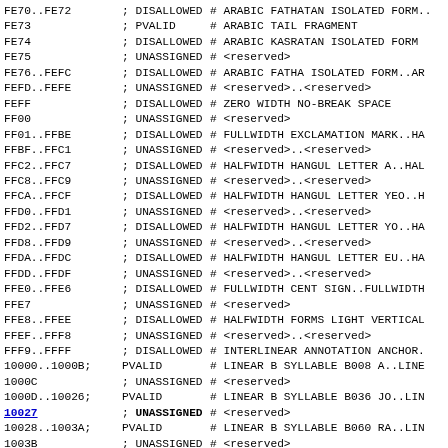| Code | Status | Description |
| --- | --- | --- |
| FE70..FE72 | DISALLOWED | # ARABIC FATHATAN ISOLATED FORM.. |
| FE73 | PVALID | # ARABIC TAIL FRAGMENT |
| FE74 | DISALLOWED | # ARABIC KASRATAN ISOLATED FORM.. |
| FE75 | UNASSIGNED | # <reserved> |
| FE76..FEFC | DISALLOWED | # ARABIC FATHA ISOLATED FORM..AR |
| FEFD..FEFE | UNASSIGNED | # <reserved>..<reserved> |
| FEFF | DISALLOWED | # ZERO WIDTH NO-BREAK SPACE |
| FF00 | UNASSIGNED | # <reserved> |
| FF01..FFBE | DISALLOWED | # FULLWIDTH EXCLAMATION MARK..HA |
| FFBF..FFC1 | UNASSIGNED | # <reserved>..<reserved> |
| FFC2..FFC7 | DISALLOWED | # HALFWIDTH HANGUL LETTER A..HAL |
| FFC8..FFC9 | UNASSIGNED | # <reserved>..<reserved> |
| FFCA..FFCF | DISALLOWED | # HALFWIDTH HANGUL LETTER YEO..H |
| FFD0..FFD1 | UNASSIGNED | # <reserved>..<reserved> |
| FFD2..FFD7 | DISALLOWED | # HALFWIDTH HANGUL LETTER YO..HA |
| FFD8..FFD9 | UNASSIGNED | # <reserved>..<reserved> |
| FFDA..FFDC | DISALLOWED | # HALFWIDTH HANGUL LETTER EU..HA |
| FFDD..FFDF | UNASSIGNED | # <reserved>..<reserved> |
| FFE0..FFE6 | DISALLOWED | # FULLWIDTH CENT SIGN..FULLWIDTH |
| FFE7 | UNASSIGNED | # <reserved> |
| FFE8..FFEE | DISALLOWED | # HALFWIDTH FORMS LIGHT VERTICAL |
| FFEF..FFF8 | UNASSIGNED | # <reserved>..<reserved> |
| FFF9..FFFF | DISALLOWED | # INTERLINEAR ANNOTATION ANCHOR. |
| 10000..1000B | PVALID | # LINEAR B SYLLABLE B008 A..LINE |
| 1000C | UNASSIGNED | # <reserved> |
| 1000D..10026 | PVALID | # LINEAR B SYLLABLE B036 JO..LIN |
| 10027 | UNASSIGNED | # <reserved> |
| 10028..1003A | PVALID | # LINEAR B SYLLABLE B060 RA..LIN |
| 1003B | UNASSIGNED | # <reserved> |
| 1003C..1003D | PVALID | # LINEAR B SYLLABLE B017 ZA..LIN |